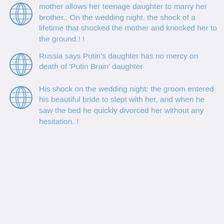mother allows her teenage daughter to marry her brother.. On the wedding night, the shock of a lifetime that shocked the mother and knocked her to the ground.! !
Russia says Putin's daughter has no mercy on death of 'Putin Brain' daughter
His shock on the wedding night: the groom entered his beautiful bride to slept with her, and when he saw the bed he quickly divorced her without any hesitation. !